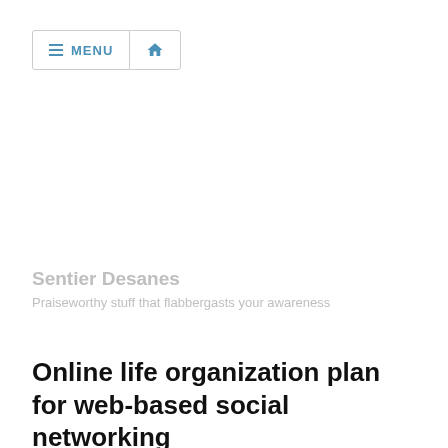MENU
Sentier Desanes
Praiseworthy stuff that flabbergasts your awareness
Online life organization plan for web-based social networking